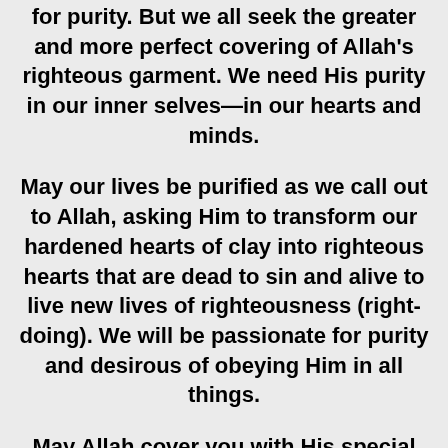for purity. But we all seek the greater and more perfect covering of Allah's righteous garment. We need His purity in our inner selves—in our hearts and minds.
May our lives be purified as we call out to Allah, asking Him to transform our hardened hearts of clay into righteous hearts that are dead to sin and alive to live new lives of righteousness (right-doing). We will be passionate for purity and desirous of obeying Him in all things.
May Allah cover you with His special raiment,